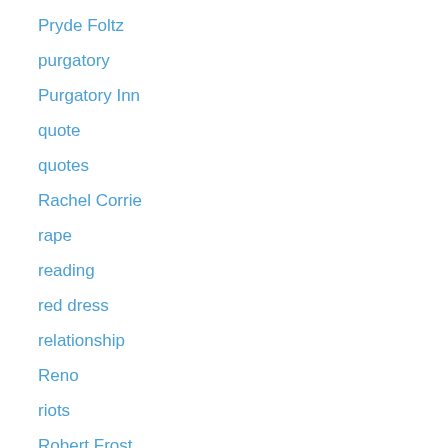Pryde Foltz
purgatory
Purgatory Inn
quote
quotes
Rachel Corrie
rape
reading
red dress
relationship
Reno
riots
Robert Frost
Robert Johnson
Robin Williams
romance
Rupert Brooke
Russian roulette
sadness
sage